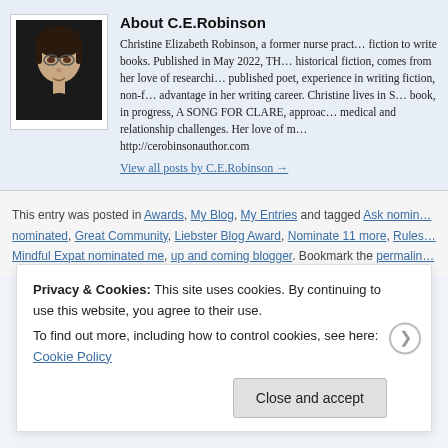About C.E.Robinson
Christine Elizabeth Robinson, a former nurse practitioner, left medicine and fiction to write books. Published in May 2022, THE MEMORY KEEPER, historical fiction, comes from her love of researching medical history. Being a published poet, experience in writing fiction, non-fiction and essays, is an advantage in her writing career. Christine lives in Seattle. Her second book, in progress, A SONG FOR CLARE, approaches women's struggles with medical and relationship challenges. Her love of music inspires her. http://cerobinsonauthor.com
View all posts by C.E.Robinson →
This entry was posted in Awards, My Blog, My Entries and tagged Ask nominated, nominated, Great Community, Liebster Blog Award, Nominate 11 more, Rules, Mindful Expat nominated me, up and coming blogger. Bookmark the permalink.
Privacy & Cookies: This site uses cookies. By continuing to use this website, you agree to their use.
To find out more, including how to control cookies, see here: Cookie Policy
Close and accept